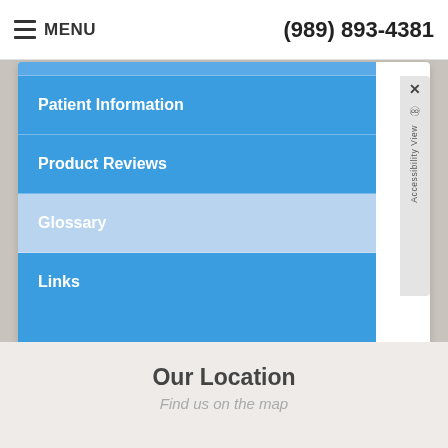MENU  (989) 893-4381
Patient Information
Product Reviews
Glossary
Links
Our Location
Find us on the map